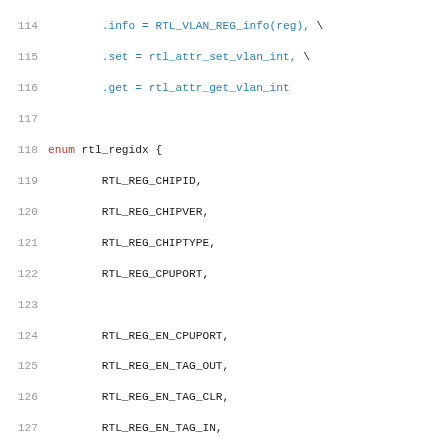Source code listing lines 114-146 showing C enum rtl_regidx and #define RTL_VLAN_ENUM macro with register constants